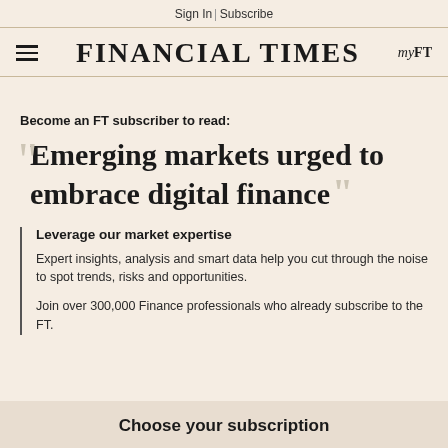Sign In | Subscribe
FINANCIAL TIMES myFT
Become an FT subscriber to read:
Emerging markets urged to embrace digital finance
Leverage our market expertise
Expert insights, analysis and smart data help you cut through the noise to spot trends, risks and opportunities.
Join over 300,000 Finance professionals who already subscribe to the FT.
Choose your subscription